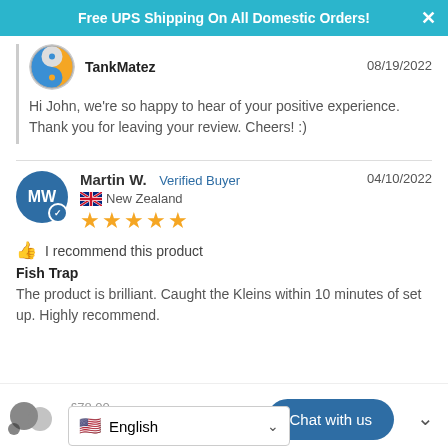Free UPS Shipping On All Domestic Orders!
[Figure (logo): TankMatez circular logo with fish yin-yang design]
TankMatez   08/19/2022
Hi John, we're so happy to hear of your positive experience. Thank you for leaving your review. Cheers! :)
Martin W.  Verified Buyer   04/10/2022
New Zealand
★★★★★
👍 I recommend this product
Fish Trap
The product is brilliant. Caught the Kleins within 10 minutes of set up. Highly recommend.
£78.00  £65.00  Chat with us  English